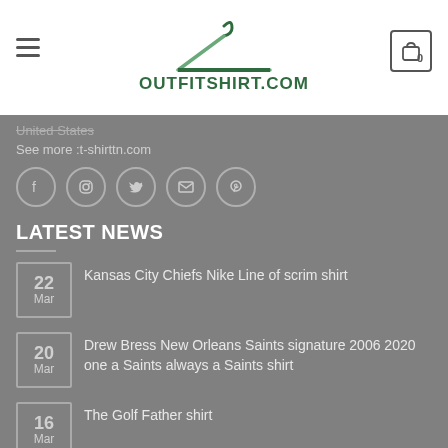[Figure (logo): Outfitshirt.com logo with hanger icon in dark green and teal, text OUTFITSHIRT.COM in bold green]
United States
See more :t-shirttn.com
[Figure (infographic): Social media icons in circles: Facebook, Instagram, Twitter, Email, Pinterest]
LATEST NEWS
22 Mar — Kansas City Chiefs Nike Line of scrim shirt
20 Mar — Drew Bress New Orleans Saints signature 2006 2020 one a Saints always a Saints shirt
16 Mar — The Golf Father shirt
06 Jan — trending shirt